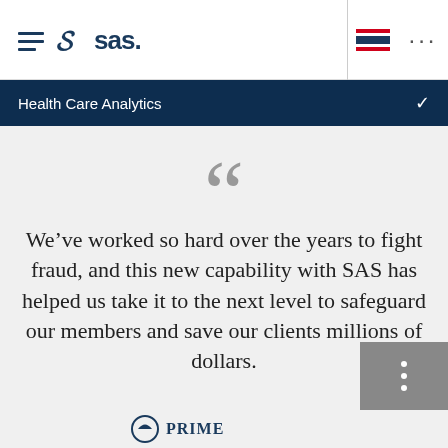SAS – Health Care Analytics
Health Care Analytics
We’ve worked so hard over the years to fight fraud, and this new capability with SAS has helped us take it to the next level to safeguard our members and save our clients millions of dollars.